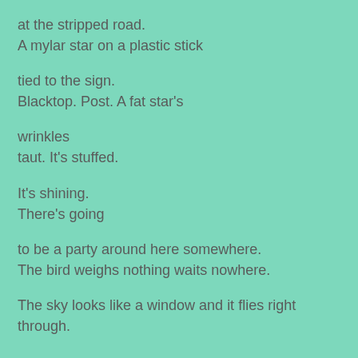at the stripped road.
A mylar star on a plastic stick
tied to the sign.
Blacktop. Post. A fat star's
wrinkles
taut. It's stuffed.
It's shining.
There's going
to be a party around here somewhere.
The bird weighs nothing waits nowhere.
The sky looks like a window and it flies right through.
--------
My Wednesday was spectacularly unexciting -- it started late, since we got a dusting of snow that caused schools to